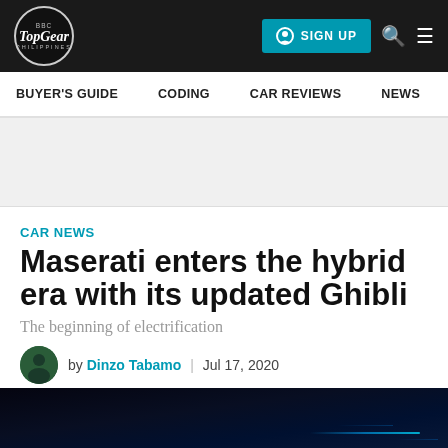TopGear Philippines
BUYER'S GUIDE | CODING | CAR REVIEWS | NEWS | MOTORCY
CAR NEWS
Maserati enters the hybrid era with its updated Ghibli
The beginning of electrification
by Dinzo Tabamo | Jul 17, 2020
[Figure (photo): Dark blue interior dashboard/cockpit of the Maserati Ghibli with accent lighting]